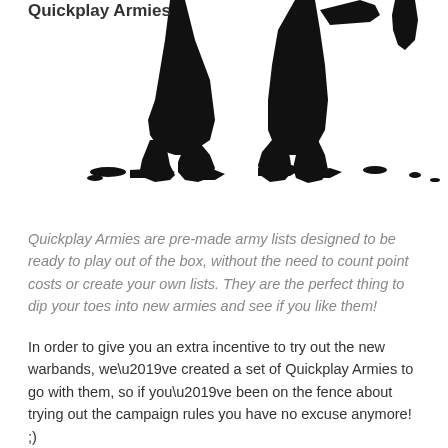[Figure (illustration): Black silhouette illustration of figures (soldiers or warriors) at the top of the page, partially cropped, showing legs and lower bodies with weapons, on a white background.]
Quickplay Armies
Quickplay Armies are pre-made army lists designed to be ready to play out of the box, without the need to count point costs or create your own lists. They are the perfect thing to dip your toes into new armies and see if you like them!
In order to give you an extra incentive to try out the new warbands, we’ve created a set of Quickplay Armies to go with them, so if you’ve been on the fence about trying out the campaign rules you have no excuse anymore! ;)